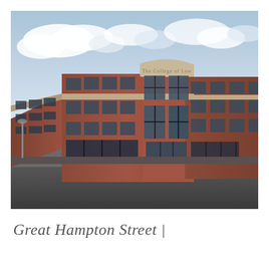[Figure (photo): Exterior photograph of The College of Law building on Great Hampton Street. A large multi-storey red brick building with curved corner facade, large grid-pattern windows, and 'The College of Law' signage on the curved upper parapet. Street-level view showing the pavement and road in the foreground, with a partly cloudy sky above.]
Great Hampton Street  |